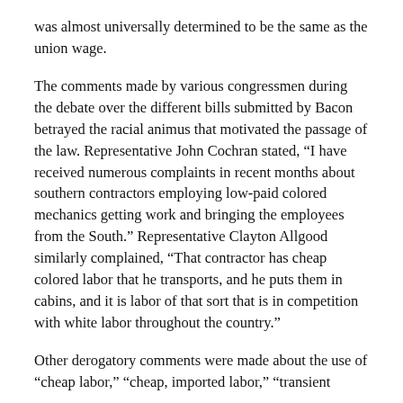was almost universally determined to be the same as the union wage.
The comments made by various congressmen during the debate over the different bills submitted by Bacon betrayed the racial animus that motivated the passage of the law. Representative John Cochran stated, “I have received numerous complaints in recent months about southern contractors employing low-paid colored mechanics getting work and bringing the employees from the South.” Representative Clayton Allgood similarly complained, “That contractor has cheap colored labor that he transports, and he puts them in cabins, and it is labor of that sort that is in competition with white labor throughout the country.”
Other derogatory comments were made about the use of “cheap labor,” “cheap, imported labor,” “transient